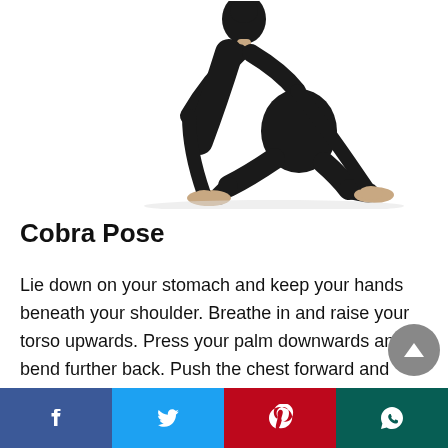[Figure (photo): A person in black athletic wear performing a yoga pose (child's pose / cobra preparation), kneeling and bending forward with hands on feet, photographed on white background.]
Cobra Pose
Lie down on your stomach and keep your hands beneath your shoulder. Breathe in and raise your torso upwards. Press your palm downwards and bend further back. Push the chest forward and keep the leg firm on the ground. Breathe in and breathe out and hold the position for 5 seconds.
[Figure (infographic): Social media share bar with four buttons: Facebook (blue), Twitter (light blue), Pinterest (red), WhatsApp (dark teal).]